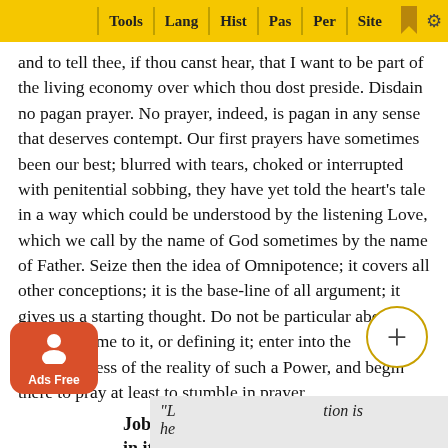Tools | Lang | Hist | Pas | Per | Site
and to tell thee, if thou canst hear, that I want to be part of the living economy over which thou dost preside. Disdain no pagan prayer. No prayer, indeed, is pagan in any sense that deserves contempt. Our first prayers have sometimes been our best; blurred with tears, choked or interrupted with penitential sobbing, they have yet told the heart's tale in a way which could be understood by the listening Love, which we call by the name of God sometimes by the name of Father. Seize then the idea of Omnipotence; it covers all other conceptions; it is the base-line of all argument; it gives us a starting thought. Do not be particular about giving a name to it, or defining it; enter into the consciousness of the reality of such a Power, and begin there to pray at least to stumble in prayer.
Job utters a word which will be abiding in its significance and in its comfort
“L…tion is he…